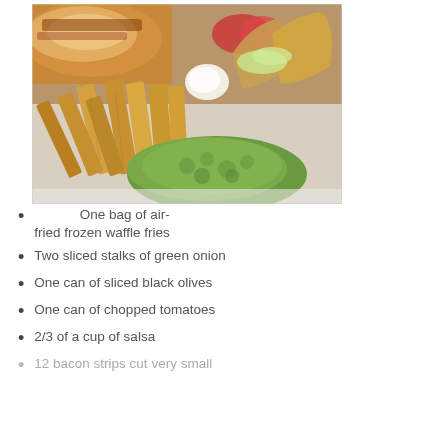[Figure (photo): A plate of food including waffle fries, guacamole, taco shells, lettuce, tomato, and a cheesy dish in the background.]
One bag of air-fried frozen waffle fries
Two sliced stalks of green onion
One can of sliced black olives
One can of chopped tomatoes
2/3 of a cup of salsa
12 bacon strips cut very small